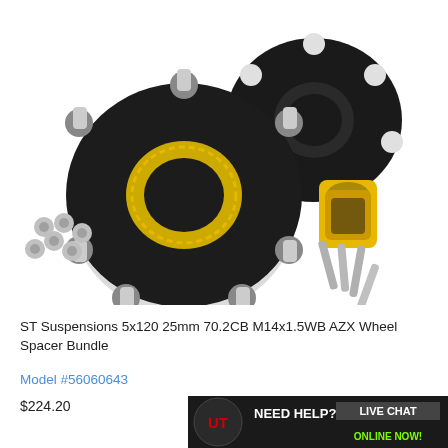[Figure (photo): Two black circular wheel spacers with yellow center rings and silver studs, along with loose silver lug nuts and a yellow hub-centric ring with additional bolts, arranged on a white background.]
ST Suspensions 5x120 25mm 70.2CB M14x1.5WB AZX Wheel Spacer Bundle
Model #56060643
$224.20
[Figure (logo): UT logo banner with text: NEED HELP? LIVE CHAT ONLINE NOW!]